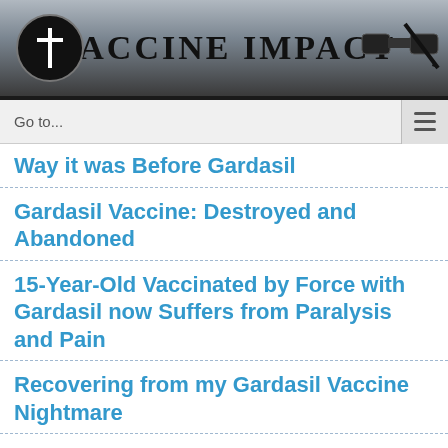[Figure (logo): Vaccine Impact website header banner with logo (cross icon), title 'VACCINE IMPACT', and binoculars/arrow icons]
Go to...
Way it was Before Gardasil
Gardasil Vaccine: Destroyed and Abandoned
15-Year-Old Vaccinated by Force with Gardasil now Suffers from Paralysis and Pain
Recovering from my Gardasil Vaccine Nightmare
Gardasil: We Thought It Was The Right Choice